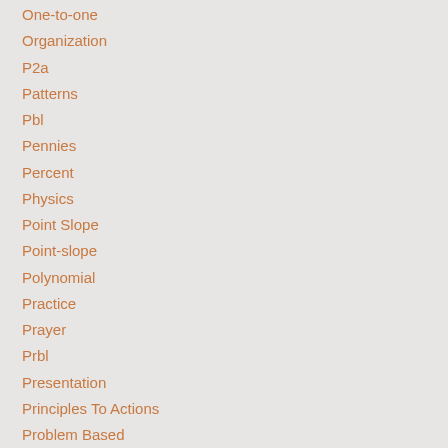One-to-one
Organization
P2a
Patterns
Pbl
Pennies
Percent
Physics
Point Slope
Point-slope
Polynomial
Practice
Prayer
Prbl
Presentation
Principles To Actions
Problem Based
Problem-based
Problem Based Learning